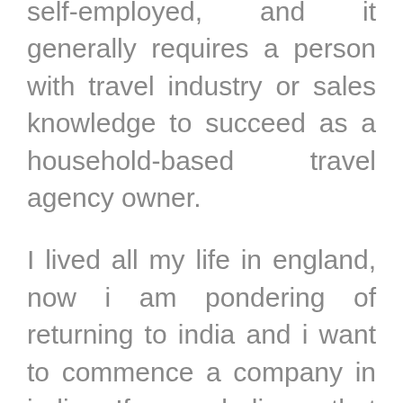self-employed, and it generally requires a person with travel industry or sales knowledge to succeed as a household-based travel agency owner.
I lived all my life in england, now i am pondering of returning to india and i want to commence a company in india. If you believe that sounds like a fantastic strategy for your potential small business, you will want to do some research to